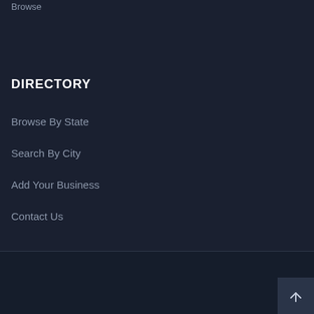Browse
DIRECTORY
Browse By State
Search By City
Add Your Business
Contact Us
© 2022 Iranian-Everything Network. Powered By eBLUESOFT All Rights Reserved.